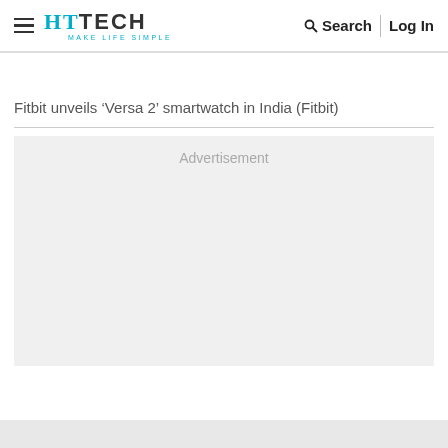HT TECH — MAKE LIFE SIMPLE | Search | Log In
Fitbit unveils ‘Versa 2’ smartwatch in India (Fitbit)
[Figure (other): Advertisement placeholder box with grey background]